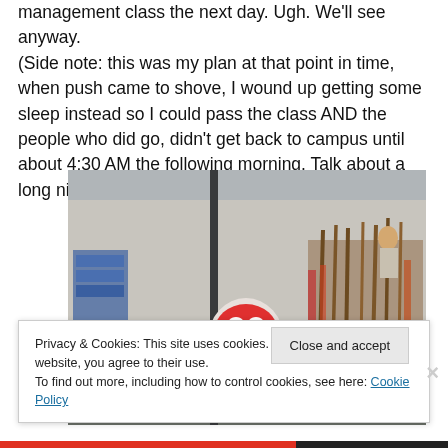management class the next day. Ugh. We'll see anyway. (Side note: this was my plan at that point in time, when push came to shove, I wound up getting some sleep instead so I could pass the class AND the people who did go, didn't get back to campus until about 4:30 AM the following morning. Talk about a long night!)
[Figure (photo): A street market scene with a colorful lion dance puppet/mask in the foreground and wooden crafts/instruments in the background.]
Privacy & Cookies: This site uses cookies. By continuing to use this website, you agree to their use.
To find out more, including how to control cookies, see here: Cookie Policy